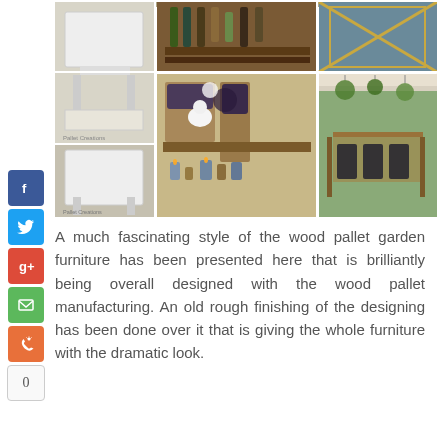[Figure (photo): Collage of wood pallet garden furniture projects including tables, chairs, outdoor seating, shelving, and a patio dining area]
A much fascinating style of the wood pallet garden furniture has been presented here that is brilliantly being overall designed with the wood pallet manufacturing. An old rough finishing of the designing has been done over it that is giving the whole furniture with the dramatic look.